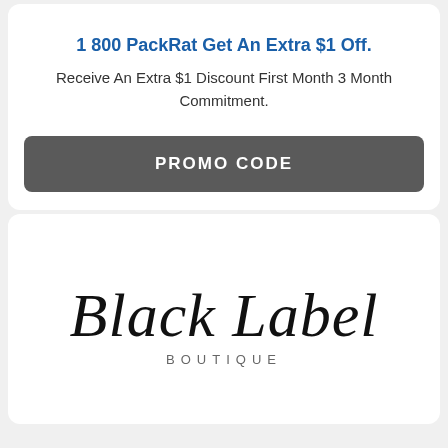1 800 PackRat Get An Extra $1 Off.
Receive An Extra $1 Discount First Month 3 Month Commitment.
PROMO CODE
[Figure (logo): Black Label Boutique script logo with 'BOUTIQUE' in spaced capitals below]